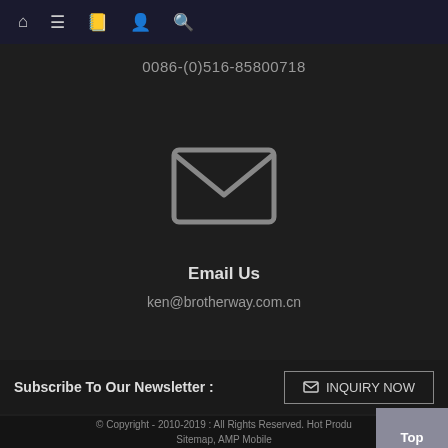Navigation icons: home, menu, address book, user, search
0086-(0)516-85800718
[Figure (illustration): Envelope / email icon, grey outline style]
Email Us
ken@brotherway.com.cn
Subscribe To Our Newsletter :
INQUIRY NOW
© Copyright - 2010-2019 : All Rights Reserved. Hot Produ Sitemap, AMP Mobile Glass Mason Jar, Glass Spray Bottle, Cosmetic Glass Dropper Bottles, Frosted Clear Roller Bottle, About Us | FAQ | Contact Us